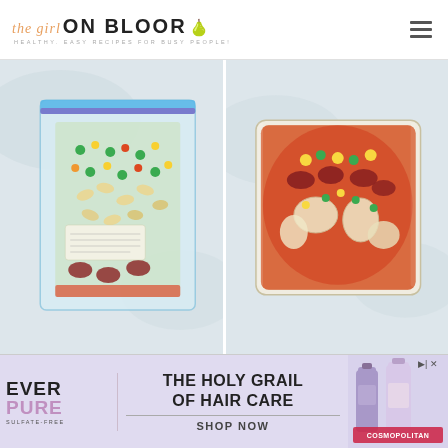the girl ON BLOOR - HEALTHY, EASY RECIPES FOR BUSY PEOPLE!
[Figure (photo): Two-panel food photo: left panel shows a clear zip-lock freezer bag filled with mixed vegetables (peas, corn, carrots, kidney beans, oats) with a label on it, viewed from above on a light blue-gray surface. Right panel shows a glass rectangular food storage container filled with a hearty soup or stew with kidney beans, corn, peas, and large vegetable chunks in a tomato-based broth, viewed from above on the same light surface.]
[Figure (photo): Advertisement banner for EverPure sulfate-free hair care products by Cosmopolitan. Purple/lavender background with text 'THE HOLY GRAIL OF HAIR CARE' and 'SHOP NOW'. Product bottles shown on right side.]